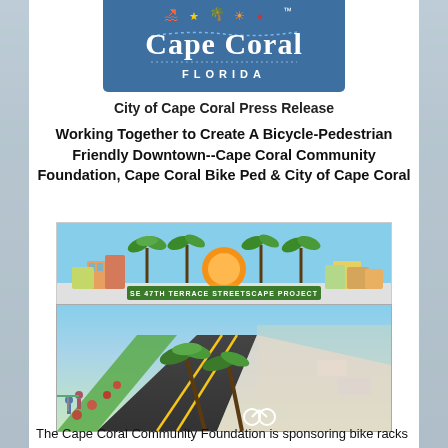[Figure (logo): City of Cape Coral Florida logo — white text on blue background with TM mark]
City of Cape Coral Press Release
Working Together to Create A Bicycle-Pedestrian Friendly Downtown--Cape Coral Community Foundation, Cape Coral Bike Ped & City of Cape Coral
[Figure (illustration): SE 47th Terrace Streetscape Project logo with palm trees, colorful buildings and sunset]
[Figure (illustration): Aerial rendering of a bicycle-pedestrian friendly downtown streetscape with palm trees, bike lanes, landscaping and pedestrians]
The Cape Coral Community Foundation is sponsoring bike racks for the